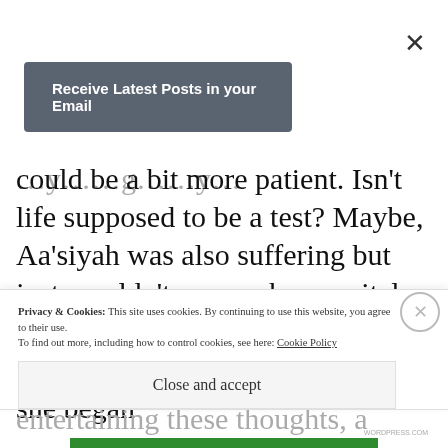×
Receive Latest Posts in your Email
could be a bit more patient. Isn't life supposed to be a test? Maybe, Aa'siyah was also suffering but just wouldn't expose her marital problems. After all, was there a perfect husband in the world? As she began entertaining these thoughts, a storm she had once
Privacy & Cookies: This site uses cookies. By continuing to use this website, you agree to their use. To find out more, including how to control cookies, see here: Cookie Policy
Close and accept